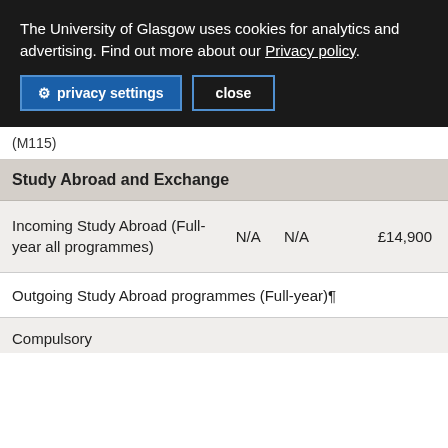The University of Glasgow uses cookies for analytics and advertising. Find out more about our Privacy policy.
privacy settings  close
(M115)
| Programme |  |  |  |
| --- | --- | --- | --- |
| Study Abroad and Exchange |  |  |  |
| Incoming Study Abroad (Full-year all programmes) | N/A | N/A | £14,900 |
| Outgoing Study Abroad programmes (Full-year)¶ |  |  |  |
| Compulsory |  |  |  |